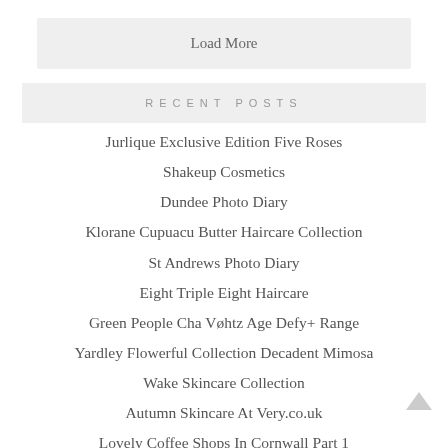Load More
RECENT POSTS
Jurlique Exclusive Edition Five Roses
Shakeup Cosmetics
Dundee Photo Diary
Klorane Cupuacu Butter Haircare Collection
St Andrews Photo Diary
Eight Triple Eight Haircare
Green People Cha Vøhtz Age Defy+ Range
Yardley Flowerful Collection Decadent Mimosa
Wake Skincare Collection
Autumn Skincare At Very.co.uk
Lovely Coffee Shops In Cornwall Part 1